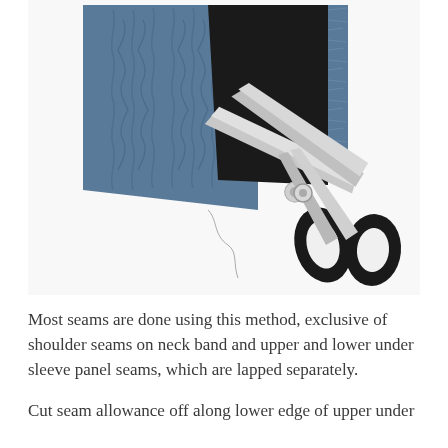[Figure (photo): A flat-lay photograph showing a piece of blue cable-knit sweater fabric alongside a black fabric piece with frayed blue edge, and a pair of large black-handled fabric scissors on a white background.]
Most seams are done using this method, exclusive of shoulder seams on neck band and upper and lower under sleeve panel seams, which are lapped separately.
Cut seam allowance off along lower edge of upper under